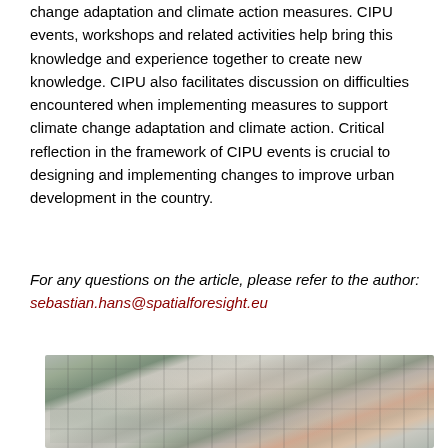change adaptation and climate action measures. CIPU events, workshops and related activities help bring this knowledge and experience together to create new knowledge. CIPU also facilitates discussion on difficulties encountered when implementing measures to support climate change adaptation and climate action. Critical reflection in the framework of CIPU events is crucial to designing and implementing changes to improve urban development in the country.
For any questions on the article, please refer to the author: sebastian.hans@spatialforesight.eu
[Figure (photo): Aerial/isometric 3D rendering of an urban area showing city blocks, buildings with green roofs, streets, and mixed building types including residential and commercial structures.]